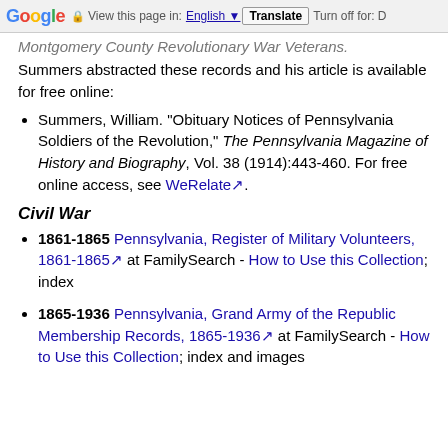Google — View this page in: English | Translate | Turn off for: D
Montgomery County Revolutionary War Veterans. Summers abstracted these records and his article is available for free online:
Summers, William. "Obituary Notices of Pennsylvania Soldiers of the Revolution," The Pennsylvania Magazine of History and Biography, Vol. 38 (1914):443-460. For free online access, see WeRelate.
Civil War
1861-1865 Pennsylvania, Register of Military Volunteers, 1861-1865 at FamilySearch - How to Use this Collection; index
1865-1936 Pennsylvania, Grand Army of the Republic Membership Records, 1865-1936 at FamilySearch - How to Use this Collection; index and images